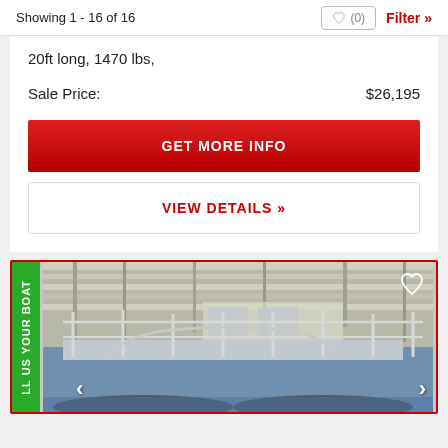Showing 1 - 16 of 16
20ft long,  1470 lbs,
Sale Price:   $26,195
GET MORE INFO
VIEW DETAILS »
[Figure (photo): Pontoon boat in a covered marina/storage facility, showing the upper deck railing and canopy structure. Green 'SELL US YOUR BOAT' tab on left side. Navigation arrows on bottom left and right.]